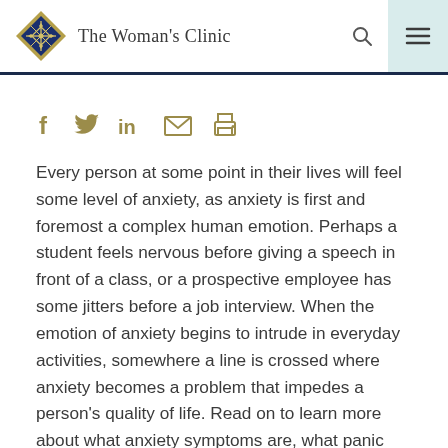The Woman's Clinic
[Figure (logo): The Woman's Clinic logo with diamond shape containing snowflake/cross pattern and clinic name text]
Every person at some point in their lives will feel some level of anxiety, as anxiety is first and foremost a complex human emotion. Perhaps a student feels nervous before giving a speech in front of a class, or a prospective employee has some jitters before a job interview. When the emotion of anxiety begins to intrude in everyday activities, somewhere a line is crossed where anxiety becomes a problem that impedes a person's quality of life. Read on to learn more about what anxiety symptoms are, what panic attacks are, what treatment options are